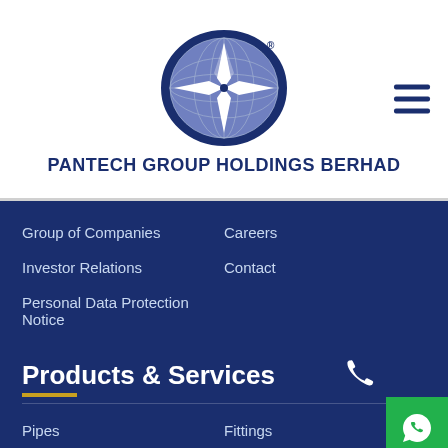[Figure (logo): Pantech Group Holdings Berhad globe logo with compass star design in blue oval]
PANTECH GROUP HOLDINGS BERHAD
Group of Companies
Careers
Investor Relations
Contact
Personal Data Protection Notice
Products & Services
Pipes
Fittings
Flanges
Induction Bends
Valves
Structural
Galvanising Services
Exotic Materials